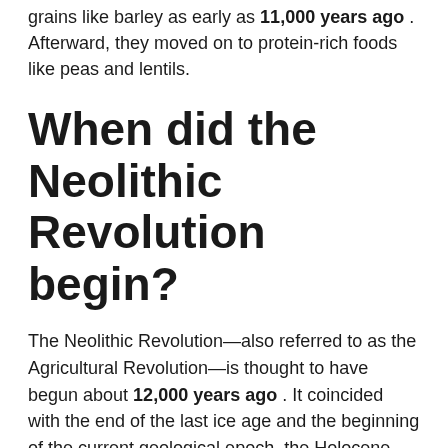grains like barley as early as 11,000 years ago . Afterward, they moved on to protein-rich foods like peas and lentils.
When did the Neolithic Revolution begin?
The Neolithic Revolution—also referred to as the Agricultural Revolution—is thought to have begun about 12,000 years ago . It coincided with the end of the last ice age and the beginning of the current geological epoch, the Holocene. And it forever changed how humans live, eat, and interact, paving the way for modern civilization.